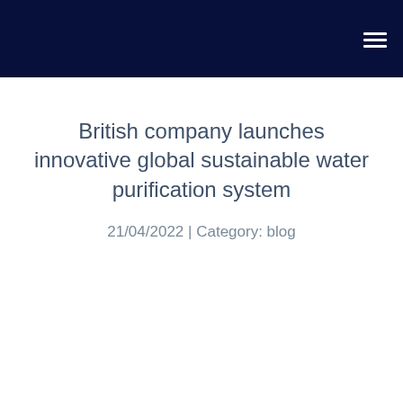British company launches innovative global sustainable water purification system
21/04/2022 | Category: blog